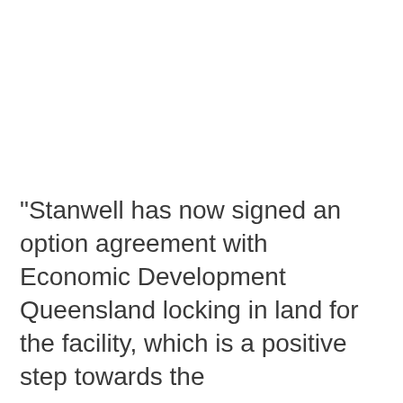“Stanwell has now signed an option agreement with Economic Development Queensland locking in land for the facility, which is a positive step towards the